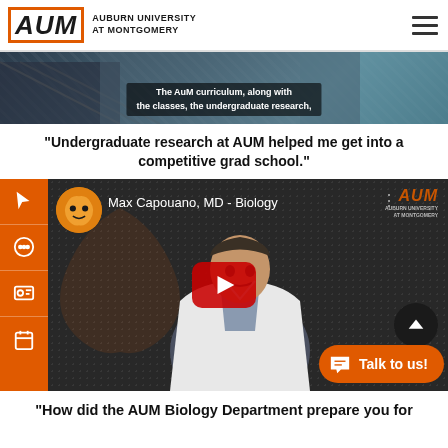AUM Auburn University at Montgomery
[Figure (screenshot): Cropped video banner showing two people sitting, with text overlay: 'The AuM curriculum, along with the classes, the undergraduate research,']
"Undergraduate research at AUM helped me get into a competitive grad school."
[Figure (screenshot): YouTube embedded video thumbnail showing Max Capouano, MD in a white coat with AUM branding. Title: 'Max Capouano, MD - Biology'. Large red YouTube play button in center.]
"How did the AUM Biology Department prepare you for